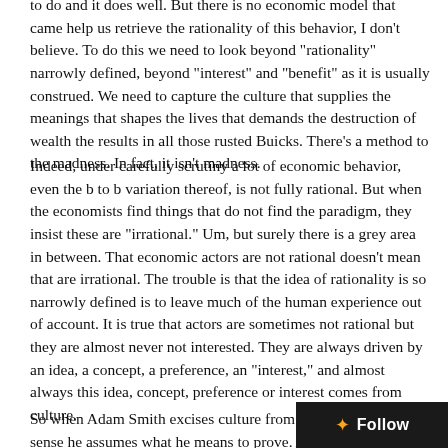to do and it does well. But there is no economic model that came help us retrieve the rationality of this behavior, I don't believe.  To do this we need to look beyond "rationality" narrowly defined, beyond "interest" and "benefit" as it is usually construed. We need to capture the culture that supplies the meanings that shapes the lives that demands the destruction of wealth the results in all those rusted Buicks.  There's a method to the madness.  In fact, it isn't madness.
Indeed, under carefully scrutiny a lot of economic behavior, even the b to b variation thereof, is not fully rational.  But when the economists find things that do not find the paradigm, they insist these are "irrational."  Um, but surely there is a grey area in between.  That economic actors are not rational doesn't mean that are irrational.  The trouble is that the idea of rationality is so narrowly defined is to leave much of the human experience out of account.  It is true that actors are sometimes not rational but they are almost never not interested.  They are always driven by an idea, a concept, a preference, an "interest," and almost always this idea, concept, preference or interest comes from culture.
So when Adam Smith excises culture from the proposition in a sense he assumes what he means to prove.  And he leaves us with